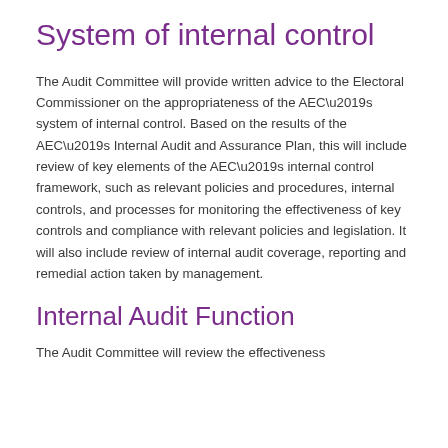System of internal control
The Audit Committee will provide written advice to the Electoral Commissioner on the appropriateness of the AEC’s system of internal control. Based on the results of the AEC’s Internal Audit and Assurance Plan, this will include review of key elements of the AEC’s internal control framework, such as relevant policies and procedures, internal controls, and processes for monitoring the effectiveness of key controls and compliance with relevant policies and legislation. It will also include review of internal audit coverage, reporting and remedial action taken by management.
Internal Audit Function
The Audit Committee will review the effectiveness